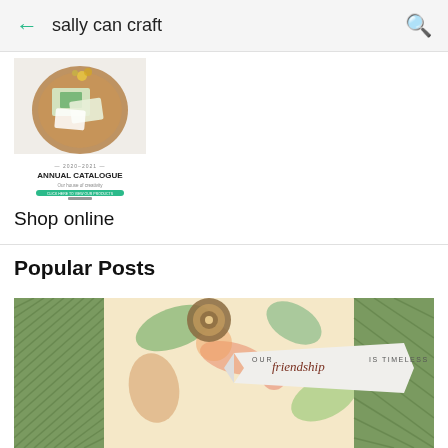sally can craft
[Figure (photo): Annual Catalogue cover image showing craft products on a wooden tray]
Shop online
Popular Posts
[Figure (photo): Handmade greeting card with green herringbone background and floral paper, featuring a banner that reads 'our friendship is timeless']